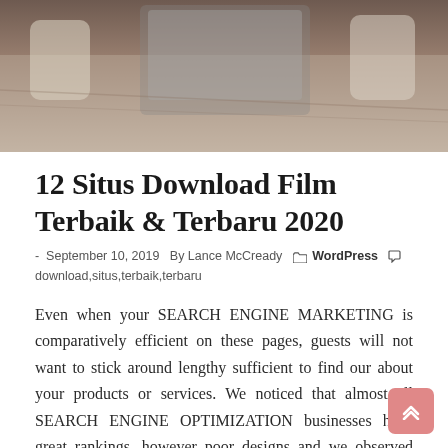[Figure (photo): Photo of a wooden table with chairs and a laptop, seen from above/angled view.]
12 Situs Download Film Terbaik & Terbaru 2020
- September 10, 2019  By Lance McCready  WordPress  download,situs,terbaik,terbaru
Even when your SEARCH ENGINE MARKETING is comparatively efficient on these pages, guests will not want to stick around lengthy sufficient to find our about your products or services. We noticed that almost all SEARCH ENGINE OPTIMIZATION businesses have great rankings, however poor designs and we observed that net design agencies have stunning web sites but poor SEO. It also needs to be clear what will happen when users work together with content and links on the webpage.